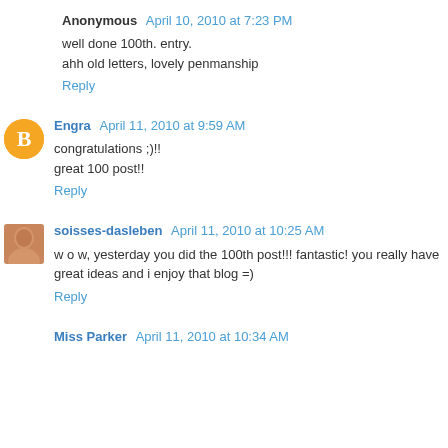Anonymous April 10, 2010 at 7:23 PM
well done 100th. entry.
ahh old letters, lovely penmanship
Reply
Engra April 11, 2010 at 9:59 AM
congratulations ;)!!
great 100 post!!
Reply
soisses-dasleben April 11, 2010 at 10:25 AM
w o w, yesterday you did the 100th post!!! fantastic! you really have great ideas and i enjoy that blog =)
Reply
Miss Parker April 11, 2010 at 10:34 AM